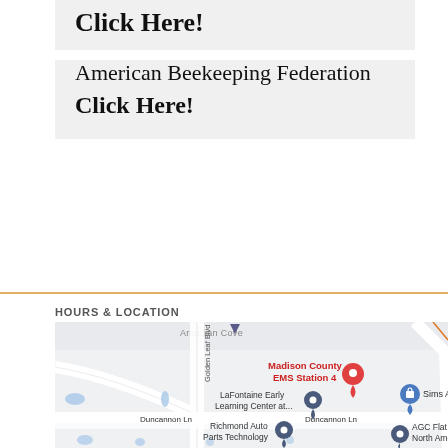Click Here!
American Beekeeping Federation
Click Here!
HOURS & LOCATION
[Figure (map): Google Maps screenshot showing Madison County EMS Station 4 (red pin), LaFontaine Early Learning Center at... (blue pin), Sims Alu (blue pin), AGC Flat Gla North Ameri (blue pin), Richmond Auto Parts Technology (blue pin). Streets visible: Golden Leaf Blvd, Duncannon Ln. Area labeled Arcadian Cove at top.]